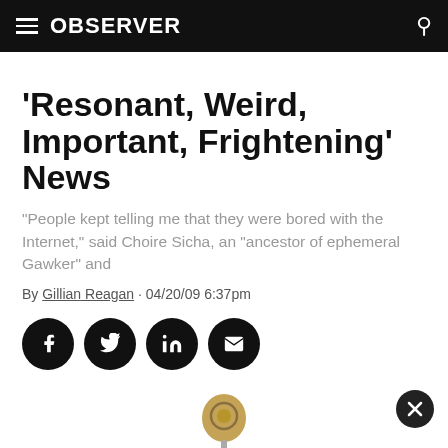OBSERVER
'Resonant, Weird, Important, Frightening' News
“People kept telling me that they were bored with the Internet,” said Choire Sicha, an “ancestor of ephemeral Gawker” and
By Gillian Reagan · 04/20/09 6:37pm
[Figure (other): Social sharing buttons: Facebook, Twitter, LinkedIn, Email]
[Figure (photo): Partial image of a vintage microphone against white background, with a close/dismiss button in the lower right area]